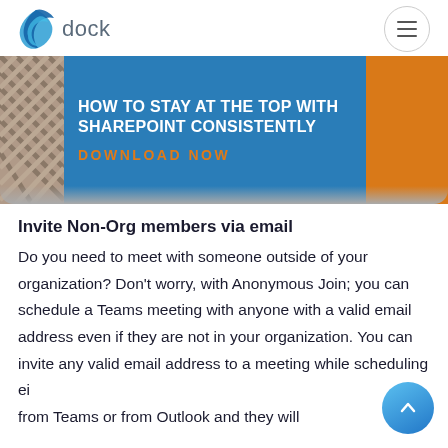dock
[Figure (screenshot): Banner image for 'HOW TO STAY AT THE TOP WITH SHAREPOINT CONSISTENTLY' with a blue background and orange accent box and 'DOWNLOAD NOW' call-to-action text in orange.]
Invite Non-Org members via email
Do you need to meet with someone outside of your organization? Don't worry, with Anonymous Join; you can schedule a Teams meeting with anyone with a valid email address even if they are not in your organization. You can invite any valid email address to a meeting while scheduling either from Teams or from Outlook and they will